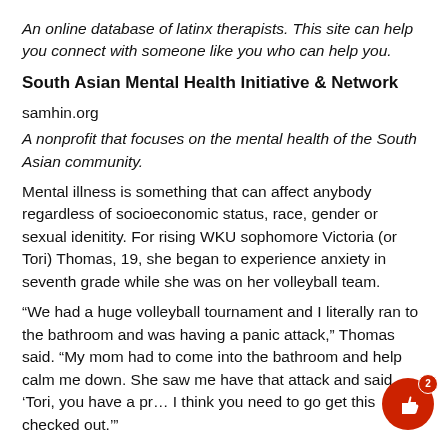An online database of latinx therapists. This site can help you connect with someone like you who can help you.
South Asian Mental Health Initiative & Network
samhin.org
A nonprofit that focuses on the mental health of the South Asian community.
Mental illness is something that can affect anybody regardless of socioeconomic status, race, gender or sexual idenitity. For rising WKU sophomore Victoria (or Tori) Thomas, 19, she began to experience anxiety in seventh grade while she was on her volleyball team.
“We had a huge volleyball tournament and I literally ran to the bathroom and was having a panic attack,” Thomas said. “My mom had to come into the bathroom and help calm me down. She saw me have that attack and said ‘Tori, you have a pr... I think you need to go get this checked out.’”